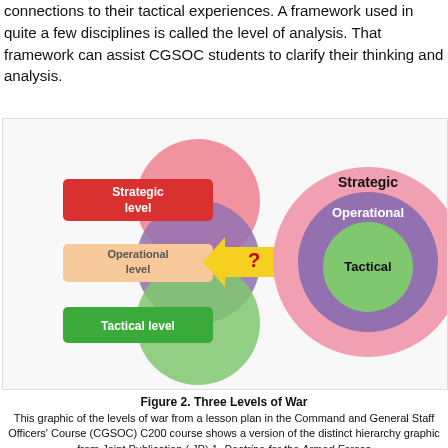connections to their tactical experiences. A framework used in quite a few disciplines is called the level of analysis. That framework can assist CGSOC students to clarify their thinking and analysis.
[Figure (infographic): Three Levels of War diagram showing two sides: left side has three overlapping colored circles (pink/red for Strategic, purple for Operational, green for Tactical) with labeled rectangles (Strategic level in red, Operational level in peach, Tactical level in green); center has a yellow double-headed arrow with a red question mark; right side shows concentric circles with Strategic (outer pink), Operational (middle purple), and Tactical (inner green) labels.]
Figure 2. Three Levels of War
This graphic of the levels of war from a lesson plan in the Command and General Staff Officers' Course (CGSOC) C200 course shows a version of the distinct hierarchy graphic from Joint Publication ( JP) 1, Doctrine for the Armed Forces of the United States, on the left, to contrast the levels of war graphic